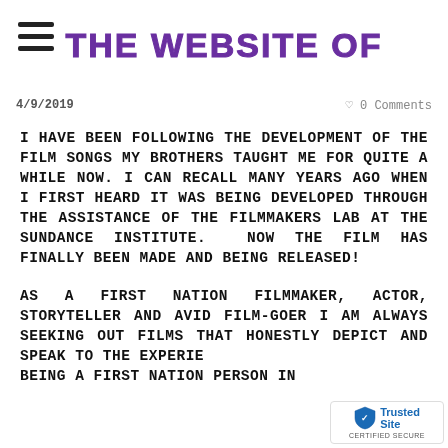THE WEBSITE OF
4/9/2019   0 Comments
I HAVE BEEN FOLLOWING THE DEVELOPMENT OF THE FILM SONGS MY BROTHERS TAUGHT ME FOR QUITE A WHILE NOW. I CAN RECALL MANY YEARS AGO WHEN I FIRST HEARD IT WAS BEING DEVELOPED THROUGH THE ASSISTANCE OF THE FILMMAKERS LAB AT THE SUNDANCE INSTITUTE.  NOW THE FILM HAS FINALLY BEEN MADE AND BEING RELEASED!
AS A FIRST NATION FILMMAKER, ACTOR, STORYTELLER AND AVID FILM-GOER I AM ALWAYS SEEKING OUT FILMS THAT HONESTLY DEPICT AND SPEAK TO THE EXPERIE... BEING A FIRST NATION PERSON IN...
[Figure (logo): TrustedSite CERTIFIED SECURE badge in bottom right corner]